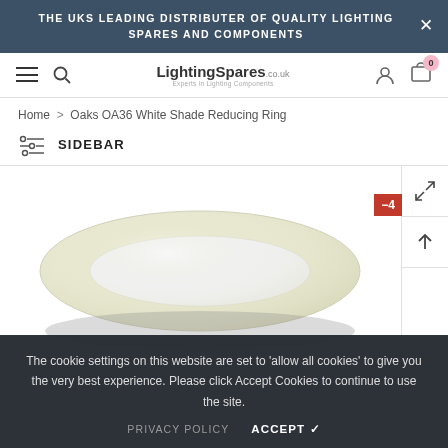THE UKS LEADING DISTRIBUTER OF QUALITY LIGHTING SPARES AND COMPONENTS
[Figure (screenshot): LightingSpares.co.uk website navigation bar with hamburger menu, search icon, logo, user icon, and cart icon showing 0 items]
Home > Oaks OA36 White Shade Reducing Ring
SIDEBAR
[Figure (photo): Product photo of Oaks OA36 White Shade Reducing Ring — a white/cream circular ring shape on white background with a red discount badge showing -4]
The cookie settings on this website are set to 'allow all cookies' to give you the very best experience. Please click Accept Cookies to continue to use the site.
PRIVACY POLICY  ACCEPT ✔